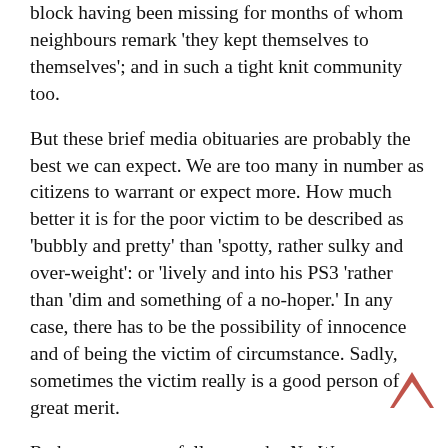block having been missing for months of whom neighbours remark 'they kept themselves to themselves'; and in such a tight knit community too.
But these brief media obituaries are probably the best we can expect. We are too many in number as citizens to warrant or expect more. How much better it is for the poor victim to be described as 'bubbly and pretty' than 'spotty, rather sulky and over-weight': or 'lively and into his PS3 'rather than 'dim and something of a no-hoper.' In any case, there has to be the possibility of innocence and of being the victim of circumstance. Sadly, sometimes the victim really is a good person of great merit.
Rather more regretfully, post the NotW, we must bid farewell to the days of 'Our reporter made his